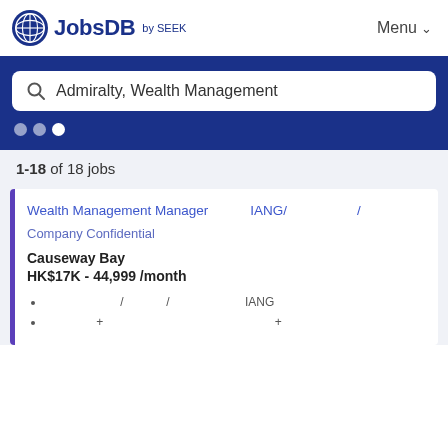[Figure (logo): JobsDB by SEEK logo with globe icon]
Menu
Admiralty, Wealth Management
1-18 of 18 jobs
Wealth Management Manager　　IANG/　　　/
Company Confidential
Causeway Bay
HK$17K - 44,999 /month
/ 　　 / 　　　　　　IANG
+ 　　　　　　　　　　　　　　+